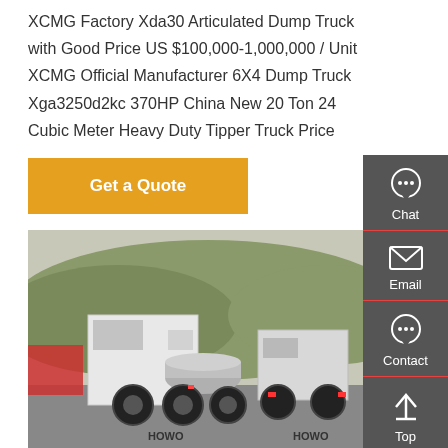XCMG Factory Xda30 Articulated Dump Truck with Good Price US $100,000-1,000,000 / Unit XCMG Official Manufacturer 6X4 Dump Truck Xga3250d2kc 370HP China New 20 Ton 24 Cubic Meter Heavy Duty Tipper Truck Price
[Figure (other): Orange 'Get a Quote' button]
[Figure (photo): Photo of heavy trucks (HOWO brand tractor units) parked in a lot with hills in the background. White cab trucks visible prominently in foreground.]
[Figure (infographic): Dark gray sidebar with Chat, Email, Contact, and Top navigation icons]